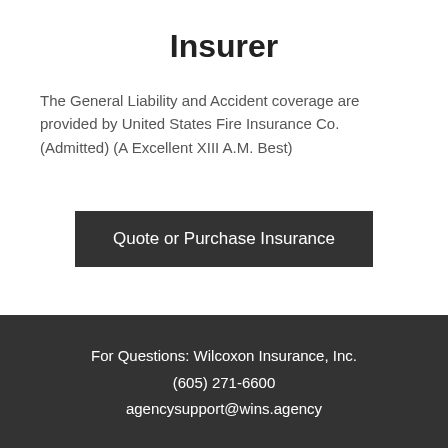Insurer
The General Liability and Accident coverage are provided by United States Fire Insurance Co. (Admitted) (A Excellent XIII A.M. Best)
[Figure (other): Dark button labeled 'Quote or Purchase Insurance']
For Questions: Wilcoxon Insurance, Inc.
(605) 271-6600
agencysupport@wins.agency